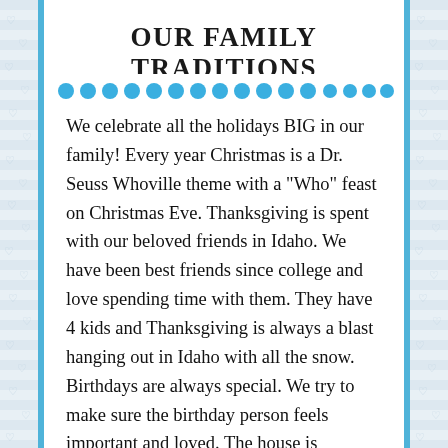OUR FAMILY TRADITIONS
We celebrate all the holidays BIG in our family! Every year Christmas is a Dr. Seuss Whoville theme with a "Who" feast on Christmas Eve. Thanksgiving is spent with our beloved friends in Idaho. We have been best friends since college and love spending time with them. They have 4 kids and Thanksgiving is always a blast hanging out in Idaho with all the snow. Birthdays are always special. We try to make sure the birthday person feels important and loved. The house is decorated and